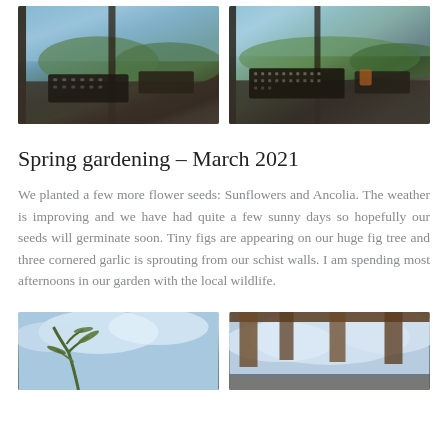[Figure (photo): Two greenhouse/seedling tray photos side by side showing seed trays on a dark workbench with a view of hilly green landscape and blue sky through windows.]
Spring gardening – March 2021
We planted a few more flower seeds: Sunflowers and Ancolia. The weather is improving and we have had quite a few sunny days so hopefully our seeds will germinate soon. Tiny figs are appearing on our huge fig tree and three cornered garlic is sprouting from our schist walls. I am spending most afternoons in our garden with the local wildlife.
[Figure (photo): Two photos side by side at the bottom: left shows plant foliage against a cloudy sky, right shows a wooden pergola/beams against a cloudy sky.]